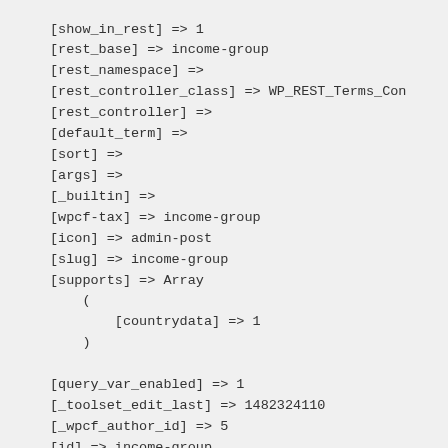[show_in_rest] => 1
[rest_base] => income-group
[rest_namespace] =>
[rest_controller_class] => WP_REST_Terms_Con
[rest_controller] =>
[default_term] =>
[sort] =>
[args] =>
[_builtin] =>
[wpcf-tax] => income-group
[icon] => admin-post
[slug] => income-group
[supports] => Array
    (
        [countrydata] => 1
    )

[query_var_enabled] => 1
[_toolset_edit_last] => 1482324110
[_wpcf_author_id] => 5
[id] => income-group
[__types_id] => income-group
[__types_title] => Income groups
[checksum] => b20bdb432eb2a72f758dcbc7567760